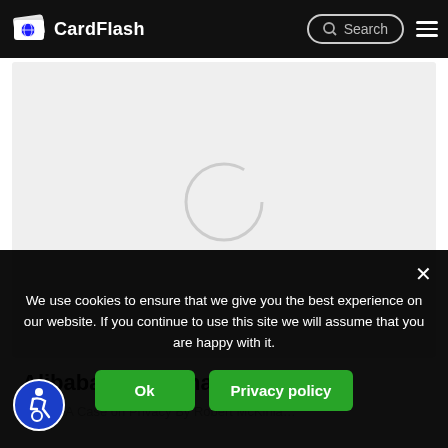CardFlash
[Figure (screenshot): Loading spinner on grey background — article thumbnail placeholder]
Alibaba Omni-Channel
A CHINA Case on Privacy By Robert McKinla…
We use cookies to ensure that we give you the best experience on our website. If you continue to use this site we will assume that you are happy with it.
Ok   Privacy policy